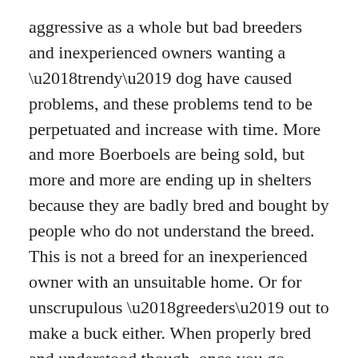aggressive as a whole but bad breeders and inexperienced owners wanting a ‘trendy’ dog have caused problems, and these problems tend to be perpetuated and increase with time. More and more Boerboels are being sold, but more and more are ending up in shelters because they are badly bred and bought by people who do not understand the breed. This is not a breed for an inexperienced owner with an unsuitable home. Or for unscrupulous ‘greeders’ out to make a buck either. When properly bred and understood though, once you go Boerboel you will never go back. They are THE most wonderful dogs ever.
The Boerboel is a dominant but intelligent breed, with a strong watchdog instinct. The Boerboel should be self-assured and fearless, but responsive to the needs of the family. For the most part, responsibly bred, well